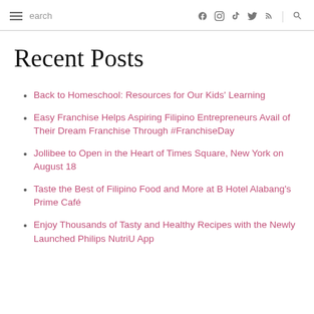≡ Search | f  [instagram] [tiktok] [twitter] [rss] [search]
Recent Posts
Back to Homeschool: Resources for Our Kids' Learning
Easy Franchise Helps Aspiring Filipino Entrepreneurs Avail of Their Dream Franchise Through #FranchiseDay
Jollibee to Open in the Heart of Times Square, New York on August 18
Taste the Best of Filipino Food and More at B Hotel Alabang's Prime Café
Enjoy Thousands of Tasty and Healthy Recipes with the Newly Launched Philips NutriU App